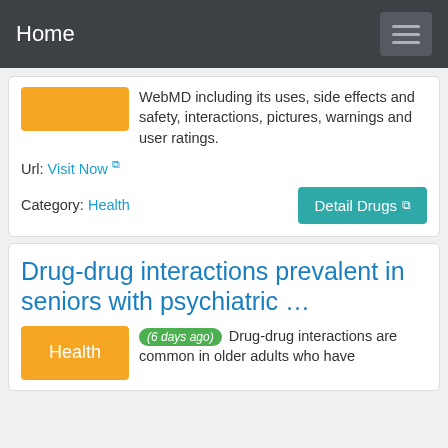Home
WebMD including its uses, side effects and safety, interactions, pictures, warnings and user ratings.
Url: Visit Now
Category: Health
Drug-drug interactions prevalent in seniors with psychiatric …
(6 days ago) Drug-drug interactions are common in older adults who have